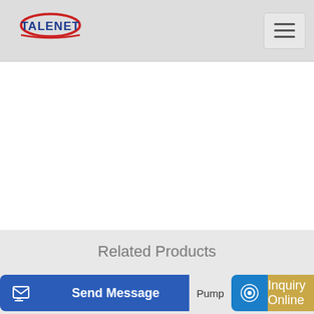TALENET
Related Products
jual concrete mixer pump Concrete pump for sale
MERCEDES-BENZ SK 2527 concrete pump from Europe used
Pump
Send Message
Inquiry Online